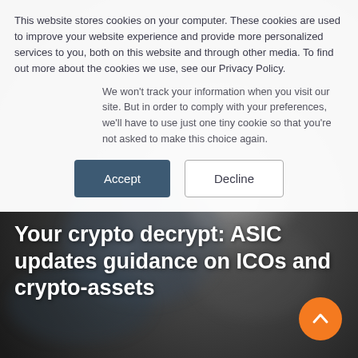This website stores cookies on your computer. These cookies are used to improve your website experience and provide more personalized services to you, both on this website and through other media. To find out more about the cookies we use, see our Privacy Policy.
We won't track your information when you visit our site. But in order to comply with your preferences, we'll have to use just one tiny cookie so that you're not asked to make this choice again.
[Figure (other): Two buttons: 'Accept' (dark blue/teal filled) and 'Decline' (outlined/white)]
Your crypto decrypt: ASIC updates guidance on ICOs and crypto-assets
[Figure (photo): Blurred dark background photo showing a person holding a coin or cryptocurrency token, used as hero image background]